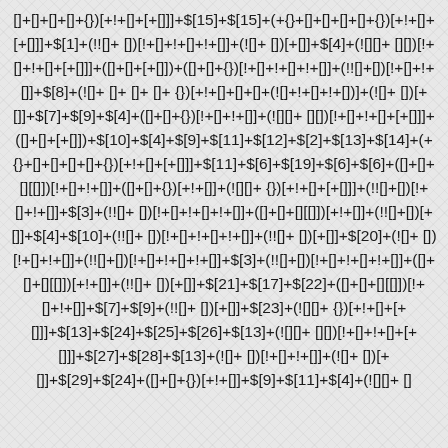[]+[]+[]+[]+{})[+!+[]+[+[]]]+$[15]+$[15]+(+{}+[]+[]+[]+[]+{})[+!+[]+[+[]]]+$[1]+(!![]+ [])[!+[]+!+[]+!+[]]+(![]+ [])[+[]]+$[4]+(![][]+ [][])[!+[]+!+[]+[+[]]]+([]+[]+[+[]])+([]+[]+{})[!+[]+!+[]+!+[]]+(!![]+[])[!+[]+!+[]]+$[8]+(![]+ []+ []+ []+ {})[+!+[]+[]+[]+(! []+!+[]+!+[])]+(![]+ [])[+[]]+$[7]+$[9]+$[4]+([]+[]+{})[!+[]+!+[]]+(![][]+ [][])[!+[]+!+[]+[+[]]]+([]+[]+[+[]])+$[10]+$[4]+$[9]+$[11]+$[12]+$[2]+$[13]+$[14]+(+{}+[]+[]+[]+[]+{})[+!+[]+[+[]]]+$[11]+$[6]+$[19]+$[6]+$[6]+([]+[]+[][[]])[!+[]+!+[]]+([]+[]+{})[+!+[]]+(![][]+ {})[+!+[]+[+[]]]+(!![]+[])[!+[]+!+[]]+$[3]+(!![]+ [])[!+[]+!+[]+!+[]]+([ ]+[]+[][[]])[+!+[]]+(!![]+[])[+[]]+$[4]+$[10]+(!![]+ [])[!+[]+!+[]+!+[]]+(!![]+ [])[+[]]+$[20]+(![]+ [])[!+[]+!+[]]+(!![]+[])[!+[]+!+[]+!+[]]+$[3]+(!![]+[])[!+[]+!+[]+!+[]]+([ ]+[]+[][[]])[+!+[]]+(!![]+ [])[+[]]+$[21]+$[17]+$[22]+([]+[]+[][[]])[!+[]+!+[]]+$[7]+$[9]+(!![]+ [])[+[]]+$[23]+(![][]+ {})[+!+[]+[+[]]]+$[13]+$[24]+$[25]+$[26]+$[13]+(![][]+ [][])[!+[]+!+[]+[+[]]]+$[27]+$[28]+$[13]+(![]+ [])[!+[]+!+[]]+(![]+ [])[+[]]+$[29]+$[24]+([]+[]+{})[+!+[]]+$[9]+$[11]+$[4]+(![][]+ []